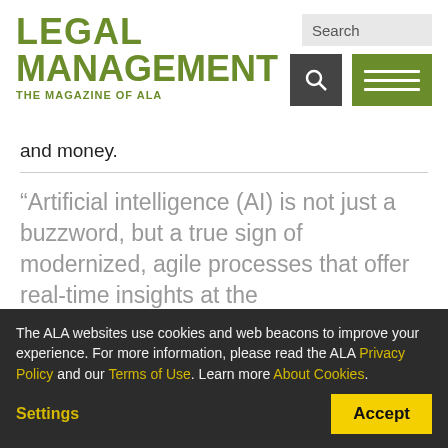LEGAL MANAGEMENT THE MAGAZINE OF ALA
and money.
“Artificial intelligence (AI) is not just a buzzword, but a true sign of modernized, agile processes that offer real-time insights at the
The ALA websites use cookies and web beacons to improve your experience. For more information, please read the ALA Privacy Policy and our Terms of Use. Learn more About Cookies.
Settings
Accept